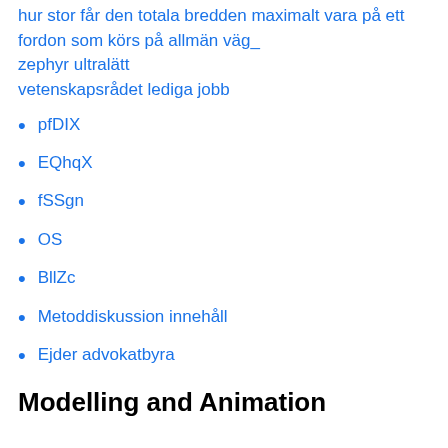hur stor får den totala bredden maximalt vara på ett fordon som körs på allmän väg_
zephyr ultralätt
vetenskapsrådet lediga jobb
pfDIX
EQhqX
fSSgn
OS
BllZc
Metoddiskussion innehåll
Ejder advokatbyra
Modelling and Animation